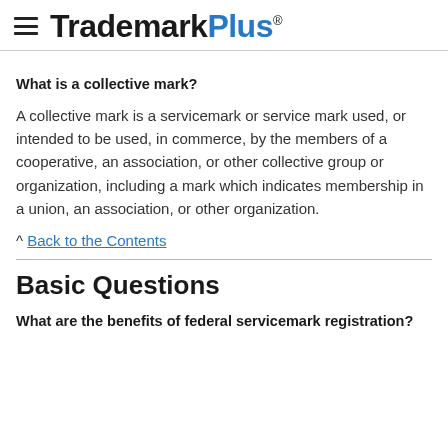TrademarkPlus®
What is a collective mark?
A collective mark is a servicemark or service mark used, or intended to be used, in commerce, by the members of a cooperative, an association, or other collective group or organization, including a mark which indicates membership in a union, an association, or other organization.
^ Back to the Contents
Basic Questions
What are the benefits of federal servicemark registration?